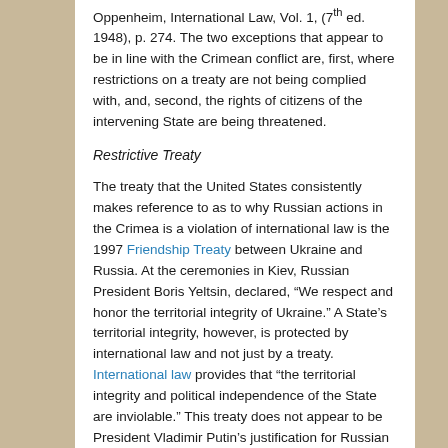Oppenheim, International Law, Vol. 1, (7th ed. 1948), p. 274. The two exceptions that appear to be in line with the Crimean conflict are, first, where restrictions on a treaty are not being complied with, and, second, the rights of citizens of the intervening State are being threatened.
Restrictive Treaty
The treaty that the United States consistently makes reference to as to why Russian actions in the Crimea is a violation of international law is the 1997 Friendship Treaty between Ukraine and Russia. At the ceremonies in Kiev, Russian President Boris Yeltsin, declared, "We respect and honor the territorial integrity of Ukraine." A State's territorial integrity, however, is protected by international law and not just by a treaty. International law provides that "the territorial integrity and political independence of the State are inviolable." This treaty does not appear to be President Vladimir Putin's justification for Russian action in the Crimea. Instead, Putin appears to refer to the treaty that centers on the Russian Naval Base at Sevastopol.